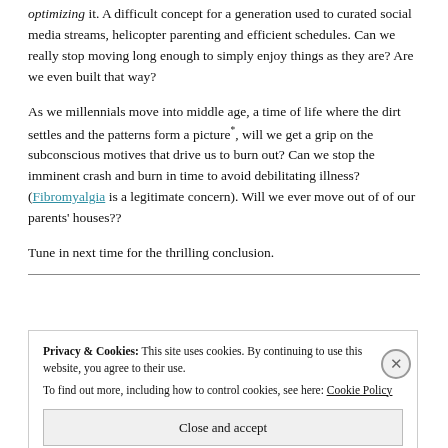optimizing it. A difficult concept for a generation used to curated social media streams, helicopter parenting and efficient schedules. Can we really stop moving long enough to simply enjoy things as they are? Are we even built that way?
As we millennials move into middle age, a time of life where the dirt settles and the patterns form a picture*, will we get a grip on the subconscious motives that drive us to burn out? Can we stop the imminent crash and burn in time to avoid debilitating illness? (Fibromyalgia is a legitimate concern). Will we ever move out of of our parents' houses??
Tune in next time for the thrilling conclusion.
Privacy & Cookies: This site uses cookies. By continuing to use this website, you agree to their use. To find out more, including how to control cookies, see here: Cookie Policy